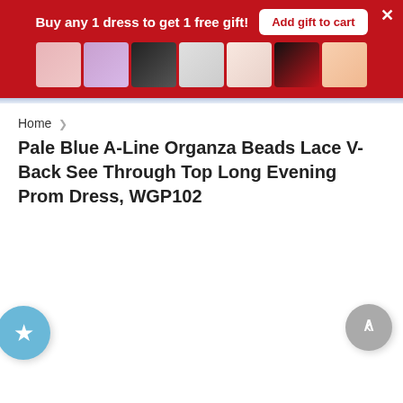Buy any 1 dress to get 1 free gift!
Add gift to cart
[Figure (photo): Row of 7 product thumbnail images showing various items including nail art, dresses, and fashion accessories on a red background banner]
Home > Pale Blue A-Line Organza Beads Lace V-Back See Through Top Long Evening Prom Dress, WGP102
Pale Blue A-Line Organza Beads Lace V-Back See Through Top Long Evening Prom Dress, WGP102